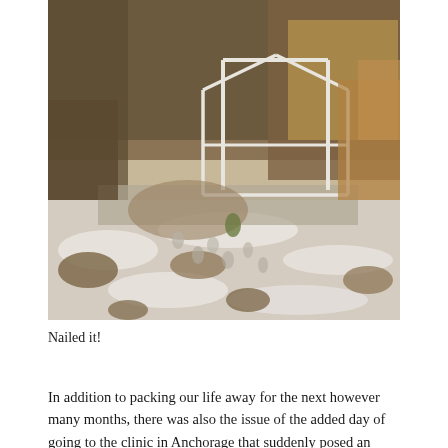[Figure (photo): Outdoor winter scene with snow on the ground and brown/dead vegetation. A white PVC pipe frame structure (resembling a small greenhouse or garden tunnel frame) stands in the background. The ground is muddy and patchy with snow cover, showing many footprints or tracks in the snow.]
Nailed it!
In addition to packing our life away for the next however many months, there was also the issue of the added day of going to the clinic in Anchorage that suddenly posed an even bigger issue than